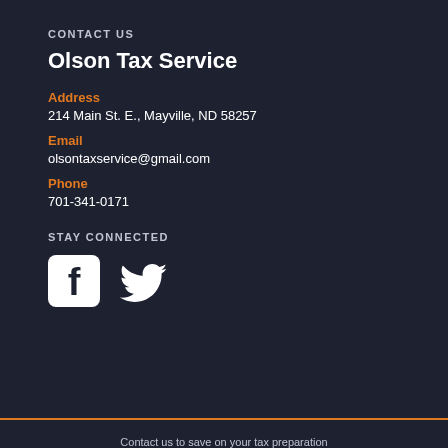CONTACT US
Olson Tax Service
Address
214 Main St. E., Mayville, ND 58257
Email
olsontaxservice@gmail.com
Phone
701-341-0171
STAY CONNECTED
[Figure (logo): Facebook and Twitter social media icons]
Contact us to save on your tax preparation